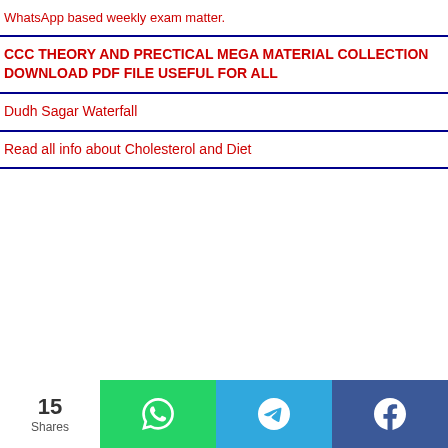WhatsApp based weekly exam matter.
CCC THEORY AND PRECTICAL MEGA MATERIAL COLLECTION DOWNLOAD PDF FILE USEFUL FOR ALL
Dudh Sagar Waterfall
Read all info about Cholesterol and Diet
15 Shares